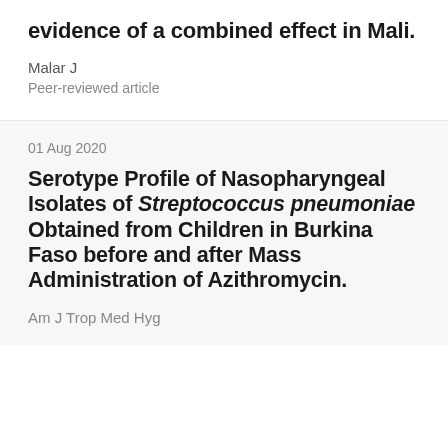evidence of a combined effect in Mali.
Malar J
Peer-reviewed article
01 Aug 2020
Serotype Profile of Nasopharyngeal Isolates of Streptococcus pneumoniae Obtained from Children in Burkina Faso before and after Mass Administration of Azithromycin.
Am J Trop Med Hyg